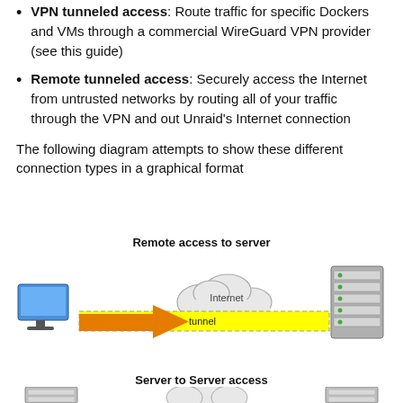VPN tunneled access: Route traffic for specific Dockers and VMs through a commercial WireGuard VPN provider (see this guide)
Remote tunneled access: Securely access the Internet from untrusted networks by routing all of your traffic through the VPN and out Unraid's Internet connection
The following diagram attempts to show these different connection types in a graphical format
[Figure (infographic): Network diagram showing Remote access to server: a desktop computer connected via an orange arrow through a yellow dashed tunnel labeled 'tunnel' passing through an Internet cloud to a server rack on the right.]
Remote access to server
Server to Server access